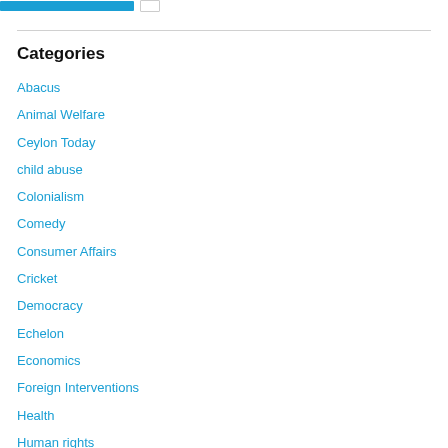Categories
Abacus
Animal Welfare
Ceylon Today
child abuse
Colonialism
Comedy
Consumer Affairs
Cricket
Democracy
Echelon
Economics
Foreign Interventions
Health
Human rights
Ireland
killing